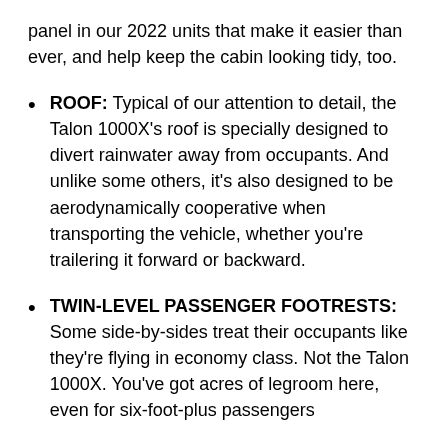panel in our 2022 units that make it easier than ever, and help keep the cabin looking tidy, too.
ROOF: Typical of our attention to detail, the Talon 1000X’s roof is specially designed to divert rainwater away from occupants. And unlike some others, it’s also designed to be aerodynamically cooperative when transporting the vehicle, whether you’re trailering it forward or backward.
TWIN-LEVEL PASSENGER FOOTRESTS: Some side-by-sides treat their occupants like they’re flying in economy class. Not the Talon 1000X. You’ve got acres of legroom here, even for six-foot-plus passengers and it all adjusts. The rear right reads on...